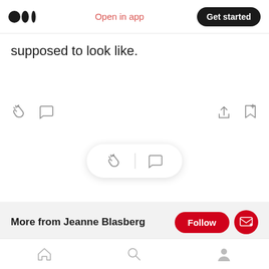Medium logo | Open in app | Get started
supposed to look like.
[Figure (screenshot): Article action bar with clap, comment, share, and bookmark icons]
[Figure (screenshot): Floating pill with clap and comment icons]
More from Jeanne Blasberg
Jeanne is the award-winning & best-selling author of EDEN (SWP '17) and THE NINE (SWP '19). A graduate of Smith College, she lives in Boston & Westerly, RI.
Bottom navigation bar: Home, Search, Profile